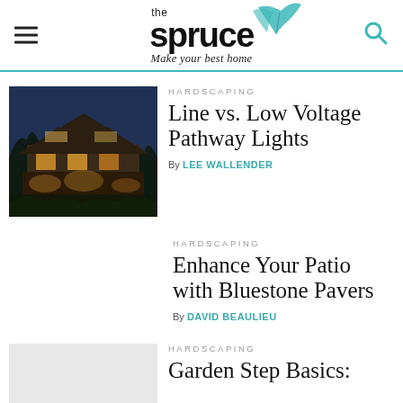the spruce — Make your best home
HARDSCAPING
Line vs. Low Voltage Pathway Lights
By LEE WALLENDER
[Figure (photo): A house at dusk with warm outdoor pathway lights illuminating a porch and garden path]
HARDSCAPING
Enhance Your Patio with Bluestone Pavers
By DAVID BEAULIEU
HARDSCAPING
Garden Step Basics: